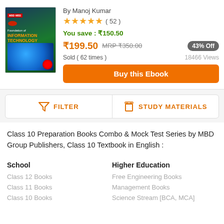[Figure (illustration): Book cover of 'Foundation of Information Technology' by MBD with green and blue design, globe graphic]
By Manoj Kumar
★★★★★ ( 52 )
You save : ₹150.50
43% Off
₹199.50  MRP ₹350.00
Sold ( 62 times )
18466 Views
Buy this Ebook
FILTER
STUDY MATERIALS
Class 10 Preparation Books Combo & Mock Test Series by MBD Group Publishers, Class 10 Textbook in English :
School
Class 12 Books
Class 11 Books
Class 10 Books
Higher Education
Free Engineering Books
Management Books
Science Stream [BCA, MCA]